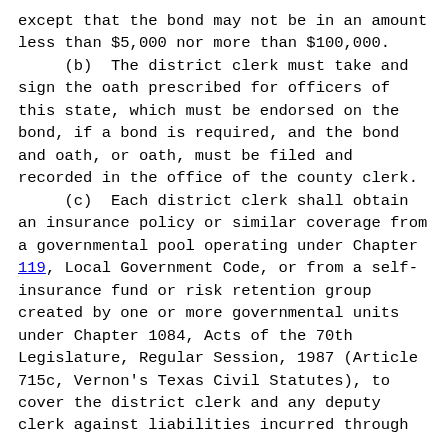except that the bond may not be in an amount less than $5,000 nor more than $100,000.
    (b)  The district clerk must take and sign the oath prescribed for officers of this state, which must be endorsed on the bond, if a bond is required, and the bond and oath, or oath, must be filed and recorded in the office of the county clerk.
    (c)  Each district clerk shall obtain an insurance policy or similar coverage from a governmental pool operating under Chapter 119, Local Government Code, or from a self-insurance fund or risk retention group created by one or more governmental units under Chapter 1084, Acts of the 70th Legislature, Regular Session, 1987 (Article 715c, Vernon's Texas Civil Statutes), to cover the district clerk and any deputy clerk against liabilities incurred through